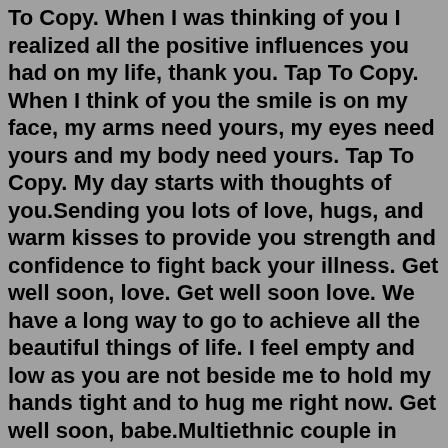Beautiful Love Pictures Hugs And Kisses Quotes Tap To Copy. When I was thinking of you I realized all the positive influences you had on my life, thank you. Tap To Copy. When I think of you the smile is on my face, my arms need yours, my eyes need yours and my body need yours. Tap To Copy. My day starts with thoughts of you.Sending you lots of love, hugs, and warm kisses to provide you strength and confidence to fight back your illness. Get well soon, love. Get well soon love. We have a long way to go to achieve all the beautiful things of life. I feel empty and low as you are not beside me to hold my hands tight and to hug me right now. Get well soon, babe.Multiethnic couple in love standing and holding hands. Young multiethnic couple in love isolated on grey background looking up and thinking about their future together. Smiling man and african woman in casual hugging and looking away while planning the future. Cheerful couple holding hands while leaning on wall. SWAK: During World War I, soldiers and sailors used to sign love letters with this acronym, meaning "sealed with a